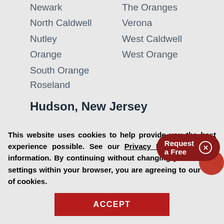Newark
The Oranges
North Caldwell
Verona
Nutley
West Caldwell
Orange
West Orange
South Orange
Roseland
Hudson, New Jersey
Bayonne
Jersey City
Harrison
Kearny
Hoboken
Nort[h]...
[Figure (screenshot): Red cookie consent dialog with 'Request a Free' text and close button, and a partial red circle]
This website uses cookies to help provide you the best experience possible. See our Privacy Policy for more information. By continuing without changing your cookie settings within your browser, you are agreeing to our use of cookies.
ACCEPT